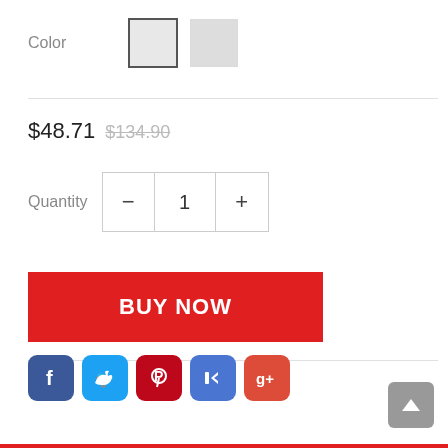Color
$48.71 $134.90
Quantity 1
[Figure (screenshot): BUY NOW red button]
[Figure (infographic): Social media share icons: Facebook, Twitter, Pinterest, Klout, Google+]